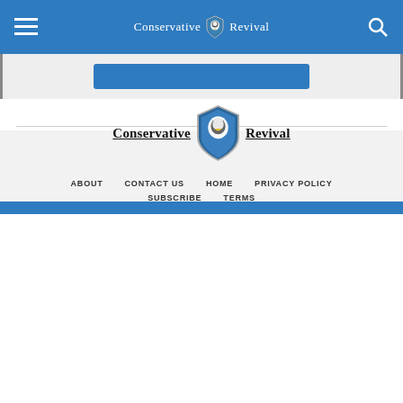Conservative Revival (logo/header)
[Figure (logo): Conservative Revival logo with eagle shield emblem centered in blue header bar]
[Figure (logo): Conservative Revival large centered logo with eagle shield, text 'Conservative Revival']
ABOUT   CONTACT US   HOME   PRIVACY POLICY   SUBSCRIBE   TERMS
Copyright © 2022 Conservative Alternative Network, LLC. All Rights Reserved. All materials contained on this site are protected by United States copyright law and